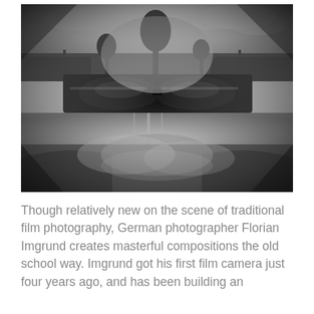[Figure (photo): Black and white double-exposure photograph of a man wearing sunglasses, with a landscape scene (bare tree, reflective water, cloudy sky) superimposed over his face and upper body.]
Though relatively new on the scene of traditional film photography, German photographer Florian Imgrund creates masterful compositions the old school way. Imgrund got his first film camera just four years ago, and has been building an